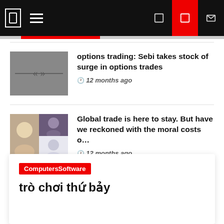Navigation bar with hamburger menu and action buttons
options trading: Sebi takes stock of surge in options trades
12 months ago
Global trade is here to stay. But have we reckoned with the moral costs o...
12 months ago
ComputersSoftware
trò chơi thứ bảy